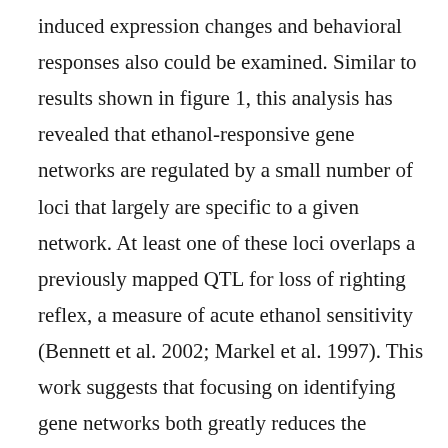induced expression changes and behavioral responses also could be examined. Similar to results shown in figure 1, this analysis has revealed that ethanol-responsive gene networks are regulated by a small number of loci that largely are specific to a given network. At least one of these loci overlaps a previously mapped QTL for loss of righting reflex, a measure of acute ethanol sensitivity (Bennett et al. 2002; Markel et al. 1997). This work suggests that focusing on identifying gene networks both greatly reduces the complexity of whole- genome expression data and provides a wealth of hypothes Back to Top ↑ both functional implications and regulatory